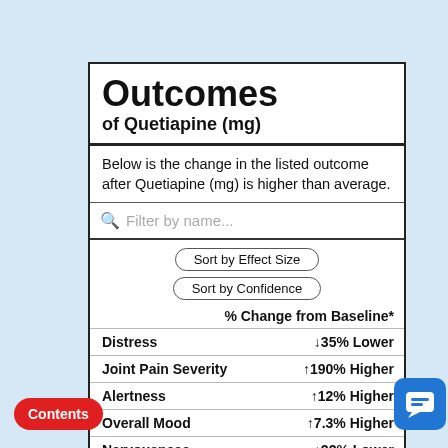Outcomes of Quetiapine (mg)
Below is the change in the listed outcome after Quetiapine (mg) is higher than average.
|  | % Change from Baseline* |
| --- | --- |
| Distress | ↓35% Lower |
| Joint Pain Severity | ↑190% Higher |
| Alertness | ↑12% Higher |
| Overall Mood | ↑7.3% Higher |
| Nervousness | ↓22% Lower |
| Anxiety | ↓22% Lower |